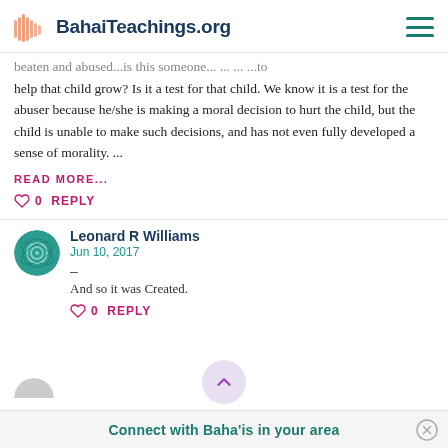BahaiTeachings.org
beaten and abused...is this someone... ...to help that child grow? Is it a test for that child. We know it is a test for the abuser because he/she is making a moral decision to hurt the child, but the child is unable to make such decisions, and has not even fully developed a sense of morality. ...
READ MORE...
0  REPLY
Leonard R Williams
Jun 10, 2017
–
And so it was Created.
0  REPLY
Connect with Baha'is in your area